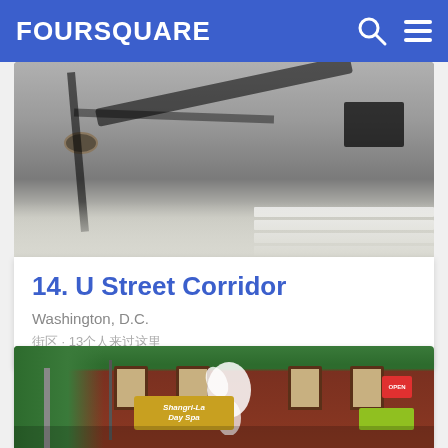FOURSQUARE
[Figure (photo): Street-level photo of a paved intersection with shadows of a lamppost and street signs cast on the asphalt, crosswalk stripes visible at right]
14. U Street Corridor
Washington, D.C.
街区 · 13个人来过这里
[Figure (photo): Street-level photo of a brick building with a large bird mural on the facade and a Shangri-La Day Spa storefront sign at street level, trees visible at left]